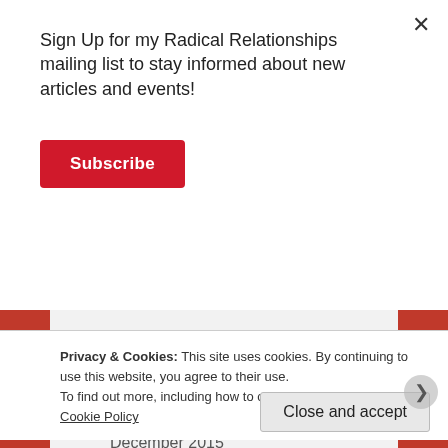Sign Up for my Radical Relationships mailing list to stay informed about new articles and events!
Subscribe
×
May 2016
April 2016
December 2015
September 2015
Privacy & Cookies: This site uses cookies. By continuing to use this website, you agree to their use.
To find out more, including how to control cookies, see here: Cookie Policy
Close and accept